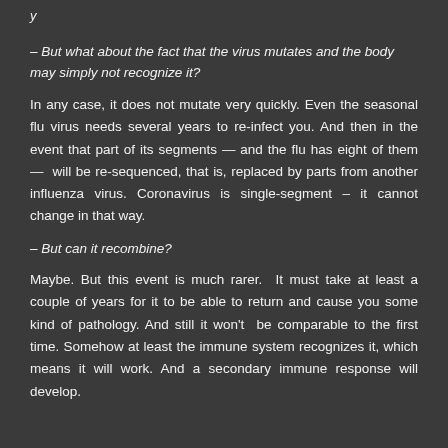y
– But what about the fact that the virus mutates and the body may simply not recognize it?
In any case, it does not mutate very quickly. Even the seasonal flu virus needs several years to re-infect you. And then in the event that part of its segments — and the flu has eight of them —  will be re-sequenced, that is, replaced by parts from another influenza virus. Coronavirus is single-segment – it cannot change in that way.
– But can it recombine?
Maybe. But this event is much rarer.  It must take at least a couple of years for it to be able to return and cause you some kind of pathology. And still it won't  be comparable to the first time. Somehow at least the immune system recognizes it, which means it will work. And a secondary immune response will develop.